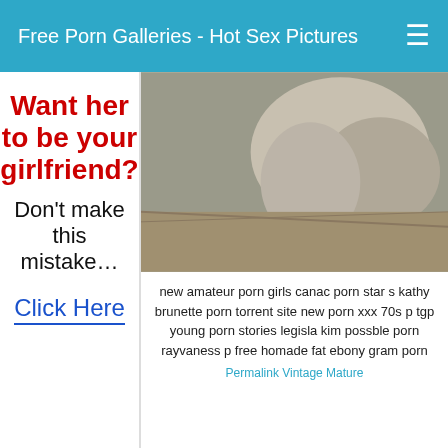Free Porn Galleries - Hot Sex Pictures
[Figure (photo): Black and white photograph partially visible on the right side]
Want her to be your girlfriend?
Don't make this mistake…
Click Here
new amateur porn girls canac porn star s kathy brunette porn torrent site new porn xxx 70s p tgp young porn stories legisla kim possble porn rayvaness p free homade fat ebony gram porn
Permalink Vintage Mature